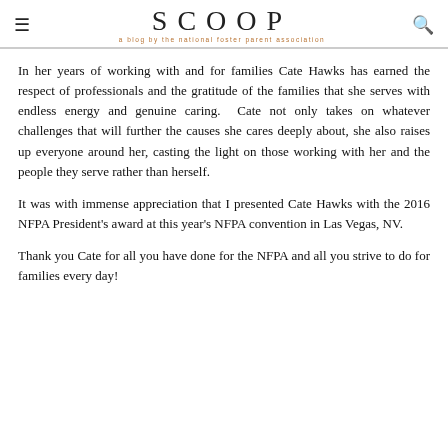SCOOP — a blog by the national foster parent association
In her years of working with and for families Cate Hawks has earned the respect of professionals and the gratitude of the families that she serves with endless energy and genuine caring. Cate not only takes on whatever challenges that will further the causes she cares deeply about, she also raises up everyone around her, casting the light on those working with her and the people they serve rather than herself.
It was with immense appreciation that I presented Cate Hawks with the 2016 NFPA President's award at this year's NFPA convention in Las Vegas, NV.
Thank you Cate for all you have done for the NFPA and all you strive to do for families every day!